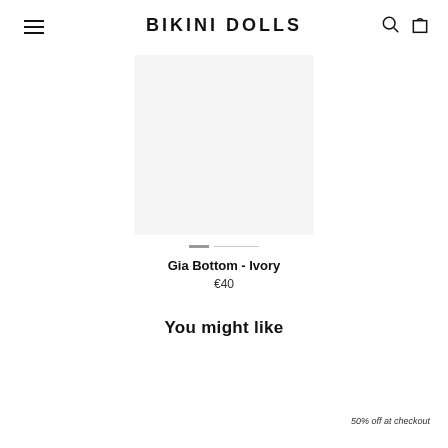BIKINI DOLLS
[Figure (photo): Product image area for Gia Bottom - Ivory, shown with slider dots indicator below]
Gia Bottom - Ivory
€40
You might like
50% off at checkout